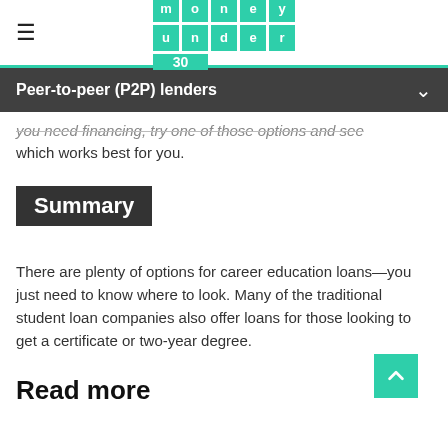money under 30 [logo]
Peer-to-peer (P2P) lenders
you need financing, try one of those options and see which works best for you.
Summary
There are plenty of options for career education loans—you just need to know where to look. Many of the traditional student loan companies also offer loans for those looking to get a certificate or two-year degree.
Read more